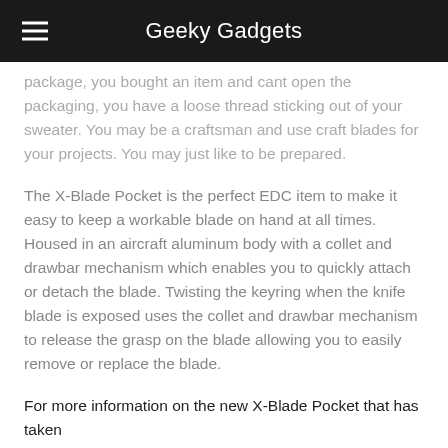Geeky Gadgets
package, you bought an item and cant open the packaging, you have a loose thread sticking out of your sweater. You may be a craftsman and use craft blades for your projects. You may just like to be prepared.
The X-Blade Pocket is the perfect EDC item to make it easy to keep a workable blade on hand at all times. Housed in an aircraft aluminum body with a collet and drawbar mechanism which enables you to quickly attach or detach the blade. Twisting the keyring when the knife blade is exposed uses the collet and drawbar mechanism to release the grasp on the blade allowing you to easily remove or replace the blade.
For more information on the new X-Blade Pocket that has taken